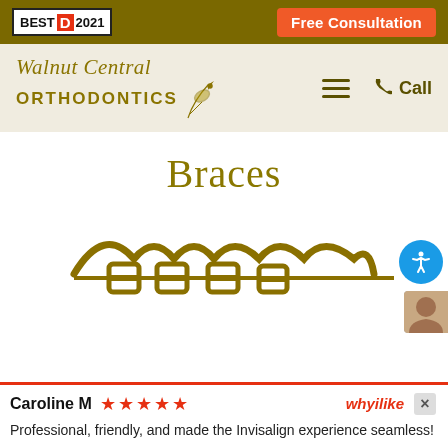BEST D 2021 | Free Consultation
[Figure (logo): Walnut Central Orthodontics logo with cursive text and bird illustration]
Braces
[Figure (illustration): Gold/olive colored dental braces illustration showing brackets and wire on teeth]
Caroline M ★★★★★ whyilike ×
Professional, friendly, and made the Invisalign experience seamless!